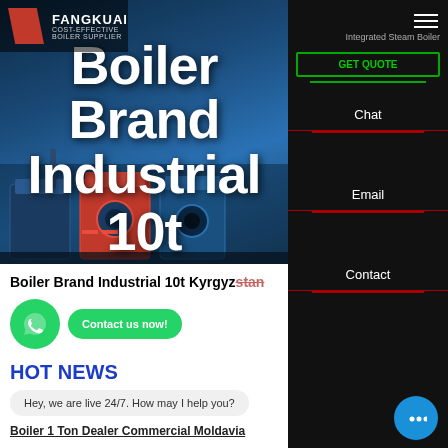[Figure (screenshot): Hero banner of a boiler supplier website showing industrial boilers in background with large white bold text overlay]
Boiler Brand Industrial 10t Kyrgyzstan
[Figure (logo): WhatsApp green circular button icon]
Contact us now!
HOT NEWS
Hey, we are live 24/7. How may I help you?
Boiler 1 Ton Dealer Commercial Moldavia